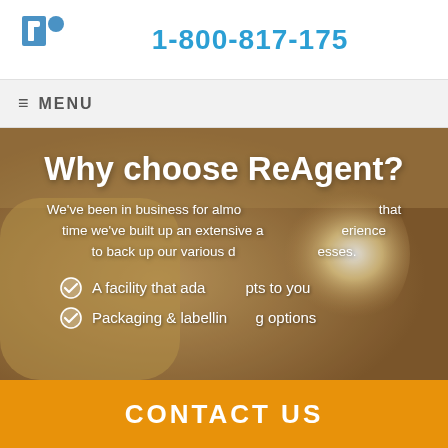1-800-817-175
≡ MENU
Why choose ReAgent?
We've been in business for almost 30 years and during that time we've built up an extensive amount of experience to back up our various distillation processes.
A facility that adapts to you
Packaging & labelling options
CONTACT US